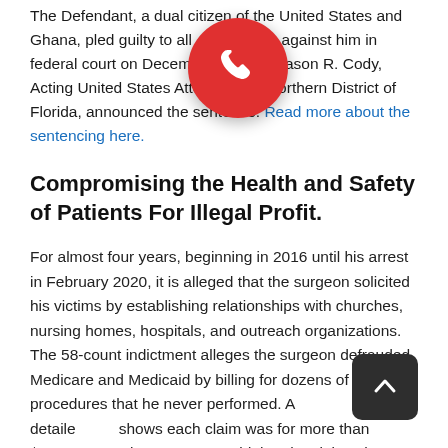The Defendant, a dual citizen of the United States and Ghana, pled guilty to all counts against him in federal court on December 2020. Jason R. Cody, Acting United States Attorney for the Northern District of Florida, announced the sentence. Read more about the sentencing here.
Compromising the Health and Safety of Patients For Illegal Profit.
For almost four years, beginning in 2016 until his arrest in February 2020, it is alleged that the surgeon solicited his victims by establishing relationships with churches, nursing homes, hospitals, and outreach organizations. The 58-count indictment alleges the surgeon defrauded Medicare and Medicaid by billing for dozens of procedures that he never performed. A detailed shows each claim was for more than $21,000 federal prosecutors said that the claims that were improperly